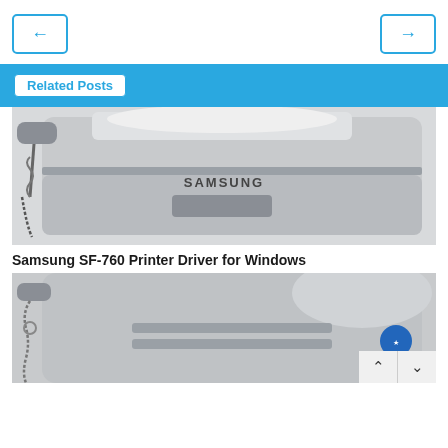[Figure (other): Navigation buttons row: left arrow button and right arrow button]
Related Posts
[Figure (photo): Close-up photo of a Samsung SF-760 printer/fax machine showing the top and front panel with SAMSUNG branding, a phone handset on the left, and paper tray]
Samsung SF-760 Printer Driver for Windows
[Figure (photo): Close-up photo of another Samsung printer/fax machine showing the left side with handset cord, paper tray slots, and a blue Energy Star sticker on the right. Scroll up/down buttons visible at bottom right.]